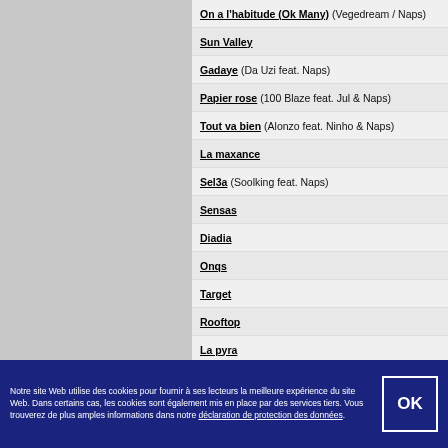On a l'habitude (Ok Many) (Vegedream / Naps)
Sun Valley
Gadaye (Da Uzi feat. Naps)
Papier rose (100 Blaze feat. Jul & Naps)
Tout va bien (Alonzo feat. Ninho & Naps)
La maxance
Sel3a (Soolking feat. Naps)
Sensas
Diadia
Onqs
Target
Rooftop
La pyra
Devant la mer
Vamos (Naps feat. Gazo)
Bogota (Naps feat. Morad & Alonzo)
G700 (Naps feat. Dadju)
Dreamlife (Naps feat. Sch)
Notre site Web utilise des cookies pour fournir à ses lecteurs la meilleure expérience du site Web. Dans certains cas, les cookies sont également mis en place par des services tiers. Vous trouverez de plus amples informations dans notre déclaration de protection des données.